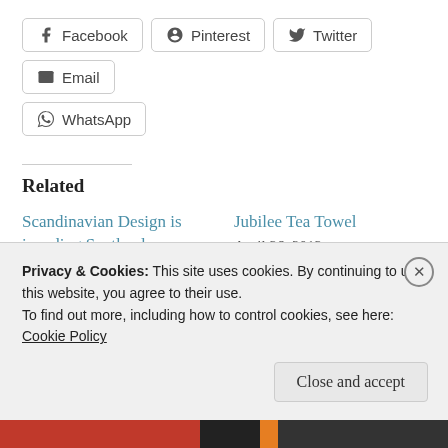[Figure (screenshot): Social share buttons row: Facebook, Pinterest, Twitter, Email]
[Figure (screenshot): Social share button: WhatsApp]
Related
Scandinavian Design is invading Scotland...
November 14, 2011
Jubilee Tea Towel
April 26, 2012
In "Latest deliveries"
Privacy & Cookies: This site uses cookies. By continuing to use this website, you agree to their use.
To find out more, including how to control cookies, see here:
Cookie Policy
Close and accept